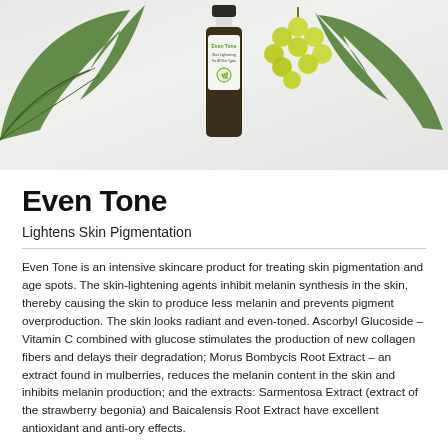[Figure (photo): Product photo showing an Even Tone Skin Lightening bottle surrounded by green grape leaves and green grapes on a light background.]
Even Tone
Lightens Skin Pigmentation
Even Tone is an intensive skincare product for treating skin pigmentation and age spots. The skin-lightening agents inhibit melanin synthesis in the skin, thereby causing the skin to produce less melanin and prevents pigment overproduction. The skin looks radiant and even-toned. Ascorbyl Glucoside – Vitamin C combined with glucose stimulates the production of new collagen fibers and delays their degradation; Morus Bombycis Root Extract – an extract found in mulberries, reduces the melanin content in the skin and inhibits melanin production; and the extracts: Sarmentosa Extract (extract of the strawberry begonia) and Baicalensis Root Extract have excellent antioxidant and anti-ory effects.